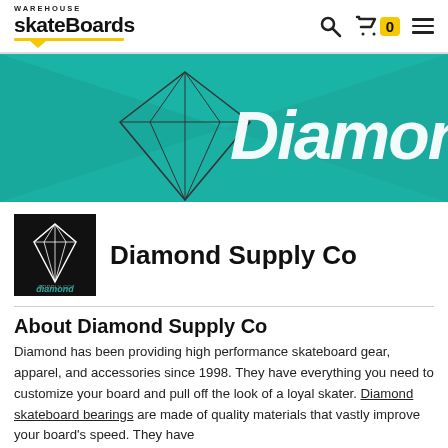[Figure (logo): Warehouse Skateboards logo with yellow underline and tag]
[Figure (screenshot): Navigation icons: search, cart with 0 badge, hamburger menu]
[Figure (illustration): Diamond Supply Co teal banner with diamond outline and Diamond script text]
[Figure (logo): Diamond Supply Co black box logo with diamond outline and teal Diamond text]
Diamond Supply Co
About Diamond Supply Co
Diamond has been providing high performance skateboard gear, apparel, and accessories since 1998. They have everything you need to customize your board and pull off the look of a loyal skater. Diamond skateboard bearings are made of quality materials that vastly improve your board's speed. They have